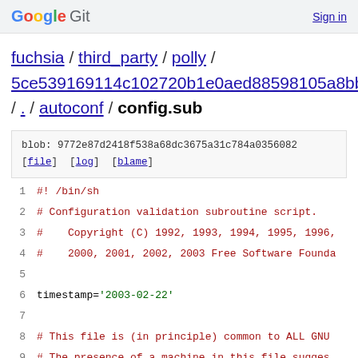Google Git  Sign in
fuchsia / third_party / polly / 5ce539169114c102720b1e0aed88598105a8bb1b / . / autoconf / config.sub
blob: 9772e87d2418f538a68dc3675a31c784a0356082 [file] [log] [blame]
1  #! /bin/sh
2  # Configuration validation subroutine script.
3  #    Copyright (C) 1992, 1993, 1994, 1995, 1996,
4  #    2000, 2001, 2002, 2003 Free Software Founda
5  
6  timestamp='2003-02-22'
7  
8  # This file is (in principle) common to ALL GNU
9  # The presence of a machine in this file sugges
10 # can handle that machine.  It does not imply A